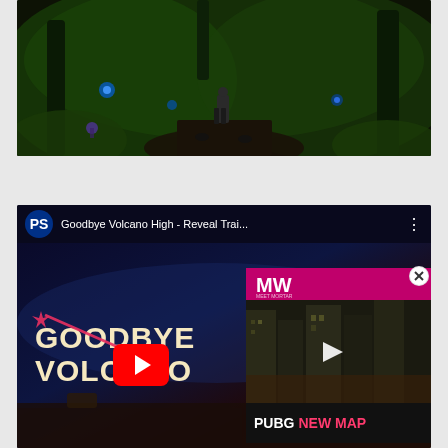[Figure (screenshot): YouTube video embed showing a jungle/fantasy game scene with a character in center, blue glowing plants, lush green environment. Red YouTube play button visible at top center.]
[Figure (screenshot): YouTube video player for 'Goodbye Volcano High - Reveal Trai...' with PlayStation logo in header, three-dot menu. Main content shows 'GOODBYE VOLCANO HIGH' text with stylized pink comet/arrow graphic on dark blue/purple background. Overlaid advertisement for PUBG NEW MAP showing city buildings and white play button.]